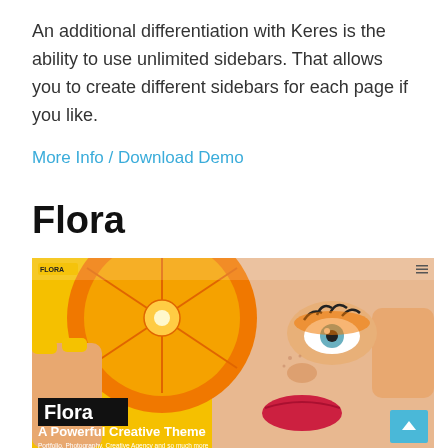An additional differentiation with Keres is the ability to use unlimited sidebars. That allows you to create different sidebars for each page if you like.
More Info / Download Demo
Flora
[Figure (screenshot): Screenshot of the Flora WordPress theme website showing a woman holding an orange slice over her eye with yellow makeup, with 'Flora' in a black box overlay and subtitle 'A Powerful Creative Theme' with tagline 'Portfolio, Photography, Creative Agency and so much more']